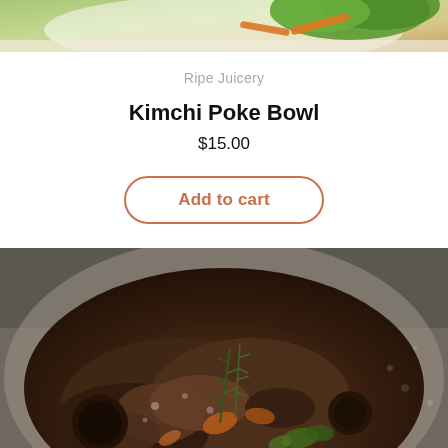[Figure (photo): Top portion of a food photo showing a poke bowl with colorful vegetables including carrots and green lettuce, cropped at the top of the page]
Ripe Juicery
Kimchi Poke Bowl
$15.00
Add to cart
[Figure (photo): A close-up photo of a braised meat stew dish in a bowl, featuring dark slow-cooked meat with carrots, herbs including rosemary, mushrooms, and green garnishes in a rich brown sauce]